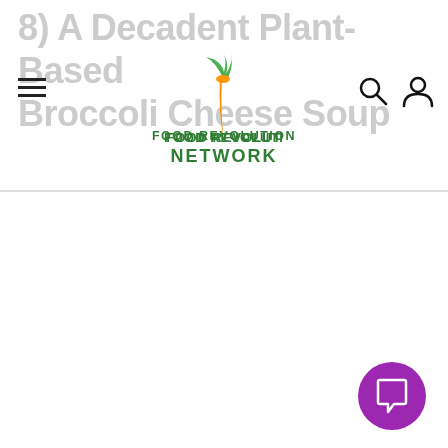Food Revolution Network — website header navigation
8) A Decadent Plant-Based Broccoli Cheese Soup
[Figure (logo): Food Revolution Network logo with green text and orange carrot icon]
[Figure (infographic): Search icon (magnifying glass) in header navigation]
[Figure (infographic): User account icon in header navigation]
[Figure (infographic): Purple circular chat/comment button in bottom right corner]